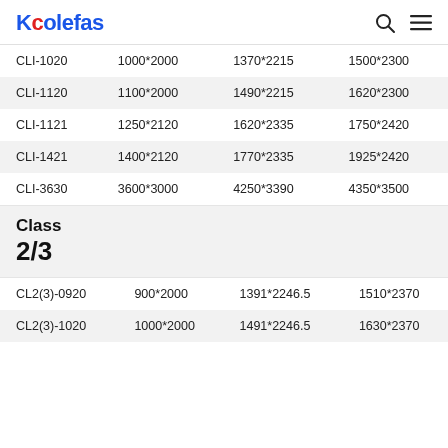Kcolefas
| CLI-1020 | 1000*2000 | 1370*2215 | 1500*2300 |
| CLI-1120 | 1100*2000 | 1490*2215 | 1620*2300 |
| CLI-1121 | 1250*2120 | 1620*2335 | 1750*2420 |
| CLI-1421 | 1400*2120 | 1770*2335 | 1925*2420 |
| CLI-3630 | 3600*3000 | 4250*3390 | 4350*3500 |
Class 2/3
| CL2(3)-0920 | 900*2000 | 1391*2246.5 | 1510*2370 |
| CL2(3)-1020 | 1000*2000 | 1491*2246.5 | 1630*2370 |